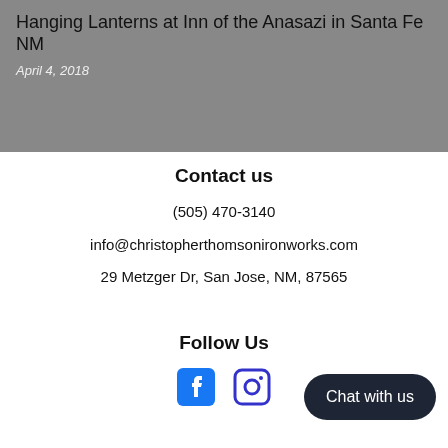Hanging Lanterns at Inn of the Anasazi in Santa Fe NM
April 4, 2018
Contact us
(505) 470-3140
info@christopherthomsonironworks.com
29 Metzger Dr, San Jose, NM, 87565
Follow Us
[Figure (illustration): Facebook and Instagram social media icons, and a dark rounded 'Chat with us' button]